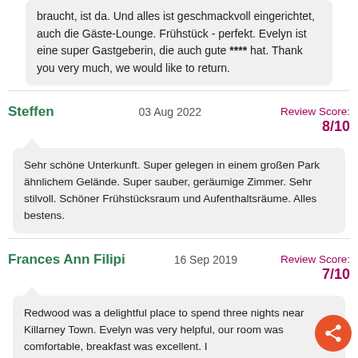braucht, ist da. Und alles ist geschmackvoll eingerichtet, auch die Gäste-Lounge. Frühstück - perfekt. Evelyn ist eine super Gastgeberin, die auch gute **** hat. Thank you very much, we would like to return.
Steffen   03 Aug 2022   Review Score: 8/10
Sehr schöne Unterkunft. Super gelegen in einem großen Park ähnlichem Gelände. Super sauber, geräumige Zimmer. Sehr stilvoll. Schöner Frühstücksraum und Aufenthaltsräume. Alles bestens.
Frances Ann Filipi   16 Sep 2019   Review Score: 7/10
Redwood was a delightful place to spend three nights near Killarney Town. Evelyn was very helpful, our room was comfortable, breakfast was excellent. I
Jim and Maria Williams   01 Sep 2019   Review Score: 8/10